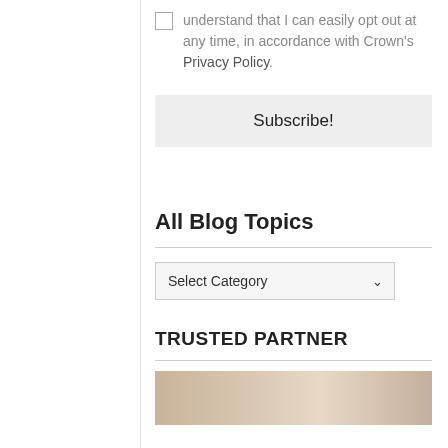understand that I can easily opt out at any time, in accordance with Crown's Privacy Policy.
Subscribe!
All Blog Topics
Select Category
TRUSTED PARTNER
[Figure (photo): Partial image strip visible at bottom of page, appears to be a lifestyle or partner photo]